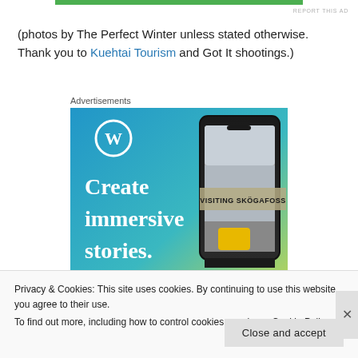[Figure (other): Green progress bar at top center of page]
REPORT THIS AD
(photos by The Perfect Winter unless stated otherwise. Thank you to Kuehtai Tourism and Got It shootings.)
Advertisements
[Figure (illustration): WordPress advertisement banner showing 'Create immersive stories.' text with WordPress logo and a phone showing 'VISITING SKOGAFOSS' travel photo]
Privacy & Cookies: This site uses cookies. By continuing to use this website, you agree to their use.
To find out more, including how to control cookies, see here: Cookie Policy